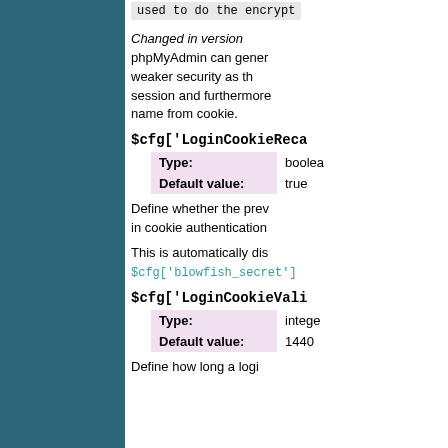used to do the encrypt
Changed in version phpMyAdmin can gener weaker security as th session and furthermore name from cookie.
$cfg['LoginCookieReca
| Type: | boolean |
| --- | --- |
| Default value: | true |
Define whether the prev in cookie authentication
This is automatically dis $cfg['blowfish_secret']
$cfg['LoginCookieVali
| Type: | integer |
| --- | --- |
| Default value: | 1440 |
Define how long a logi